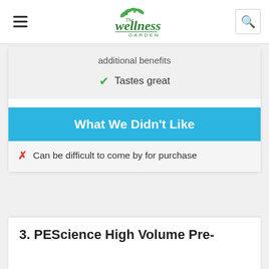The Wellness Garden
additional benefits
✓ Tastes great
What We Didn't Like
✗ Can be difficult to come by for purchase
3. PEScience High Volume Pre-